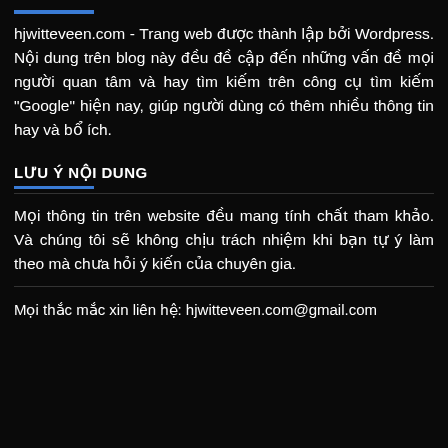hjwitteveen.com - Trang web được thành lập bởi Wordpress. Nội dung trên blog này đều đề cập đến những vấn đề mọi người quan tâm và hay tìm kiếm trên công cụ tìm kiếm "Google" hiện nay, giúp người dùng có thêm nhiều thông tin hay và bổ ích.
LƯU Ý NỘI DUNG
Mọi thông tin trên website đều mang tính chất tham khảo. Và chúng tôi sẽ không chịu trách nhiệm khi bạn tự ý làm theo mà chưa hỏi ý kiến của chuyên gia.
Mọi thắc mắc xin liên hệ: hjwitteveen.com@gmail.com